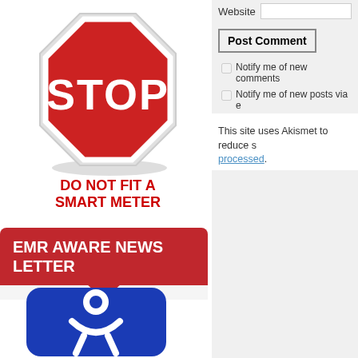[Figure (illustration): Red octagonal STOP sign with white text reading STOP, with shadow below]
DO NOT FIT A SMART METER
[Figure (illustration): Red rounded rectangle banner with white text 'EMR AWARE NEWS LETTER' and a downward-pointing red arrow tab at the bottom center]
[Figure (illustration): Blue rounded square icon with a white human/person figure symbol]
Website
Post Comment
Notify me of new comments
Notify me of new posts via e
This site uses Akismet to reduce s processed.